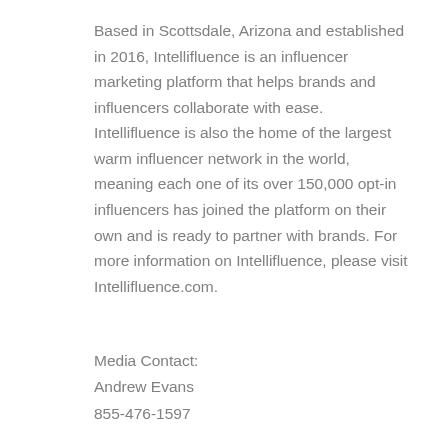Based in Scottsdale, Arizona and established in 2016, Intellifluence is an influencer marketing platform that helps brands and influencers collaborate with ease. Intellifluence is also the home of the largest warm influencer network in the world, meaning each one of its over 150,000 opt-in influencers has joined the platform on their own and is ready to partner with brands. For more information on Intellifluence, please visit Intellifluence.com.
Media Contact:
Andrew Evans
855-476-1597